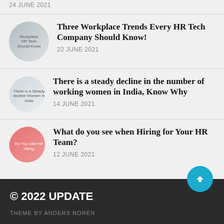24 JUNE 2021
Three Workplace Trends Every HR Tech Company Should Know!
22 JUNE 2021
There is a steady decline in the number of working women in India, Know Why
14 JUNE 2021
What do you see when Hiring for Your HR Team?
12 JUNE 2021
© 2022 UPDATE
THEME BY ANDERS NORÉN